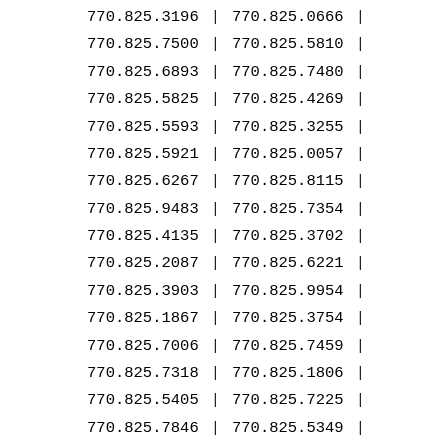| Col1 | Sep | Col2 | Sep2 |
| --- | --- | --- | --- |
| 770.825.3196 | | | 770.825.0666 | | |
| 770.825.7500 | | | 770.825.5810 | | |
| 770.825.6893 | | | 770.825.7480 | | |
| 770.825.5825 | | | 770.825.4269 | | |
| 770.825.5593 | | | 770.825.3255 | | |
| 770.825.5921 | | | 770.825.0057 | | |
| 770.825.6267 | | | 770.825.8115 | | |
| 770.825.9483 | | | 770.825.7354 | | |
| 770.825.4135 | | | 770.825.3702 | | |
| 770.825.2087 | | | 770.825.6221 | | |
| 770.825.3903 | | | 770.825.9954 | | |
| 770.825.1867 | | | 770.825.3754 | | |
| 770.825.7006 | | | 770.825.7459 | | |
| 770.825.7318 | | | 770.825.1806 | | |
| 770.825.5405 | | | 770.825.7225 | | |
| 770.825.7846 | | | 770.825.5349 | | |
| 770.825.2465 | | | 770.825.9619 | | |
| 770.825.5399 | | | 770.825.0153 | | |